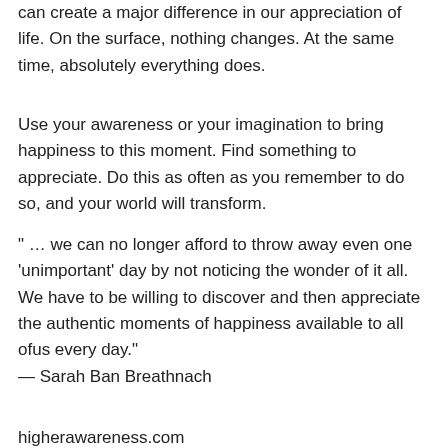can create a major difference in our appreciation of life. On the surface, nothing changes. At the same time, absolutely everything does.
Use your awareness or your imagination to bring happiness to this moment. Find something to appreciate. Do this as often as you remember to do so, and your world will transform.
" … we can no longer afford to throw away even one 'unimportant' day by not noticing the wonder of it all. We have to be willing to discover and then appreciate the authentic moments of happiness available to all ofus every day."
— Sarah Ban Breathnach
higherawareness.com